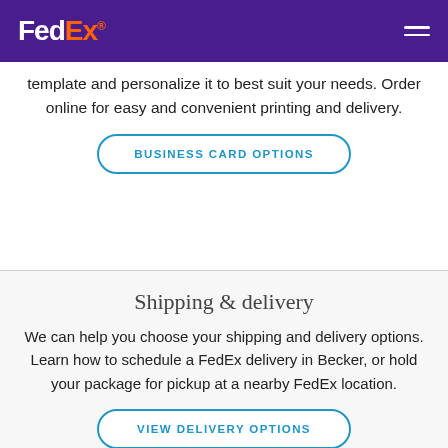FedEx
template and personalize it to best suit your needs. Order online for easy and convenient printing and delivery.
BUSINESS CARD OPTIONS
Shipping & delivery
We can help you choose your shipping and delivery options. Learn how to schedule a FedEx delivery in Becker, or hold your package for pickup at a nearby FedEx location.
VIEW DELIVERY OPTIONS